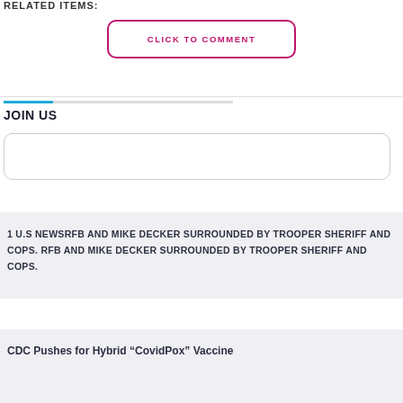RELATED ITEMS:
CLICK TO COMMENT
JOIN US
[Figure (other): Email input text field with rounded border]
1 U.S NEWSRFB AND MIKE DECKER SURROUNDED BY TROOPER SHERIFF AND COPS. RFB AND MIKE DECKER SURROUNDED BY TROOPER SHERIFF AND COPS.
CDC Pushes for Hybrid “CovidPox” Vaccine